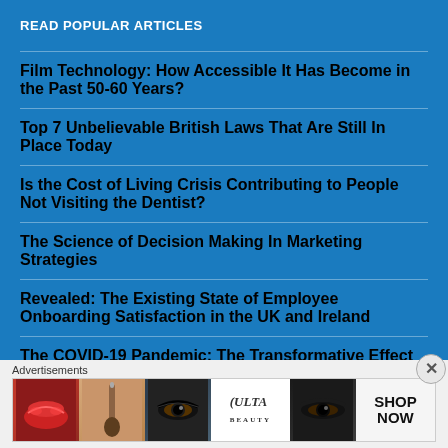READ POPULAR ARTICLES
Film Technology: How Accessible It Has Become in the Past 50-60 Years?
Top 7 Unbelievable British Laws That Are Still In Place Today
Is the Cost of Living Crisis Contributing to People Not Visiting the Dentist?
The Science of Decision Making In Marketing Strategies
Revealed: The Existing State of Employee Onboarding Satisfaction in the UK and Ireland
The COVID-19 Pandemic: The Transformative Effect on Performance Management
Advertisements
[Figure (infographic): Advertisement banner for ULTA beauty with cosmetics imagery including lips with red lipstick, makeup brush, eye makeup, ULTA logo, eye closeup, and SHOP NOW text]